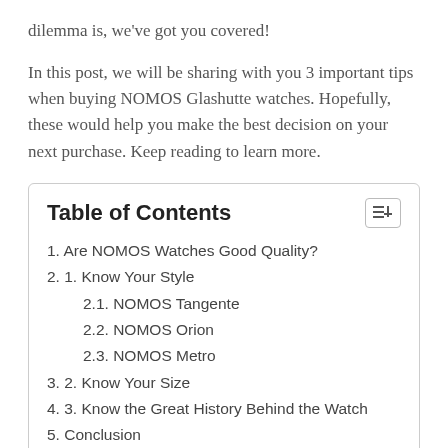dilemma is, we've got you covered!
In this post, we will be sharing with you 3 important tips when buying NOMOS Glashutte watches. Hopefully, these would help you make the best decision on your next purchase. Keep reading to learn more.
Table of Contents
1. Are NOMOS Watches Good Quality?
2. 1. Know Your Style
2.1. NOMOS Tangente
2.2. NOMOS Orion
2.3. NOMOS Metro
3. 2. Know Your Size
4. 3. Know the Great History Behind the Watch
5. Conclusion